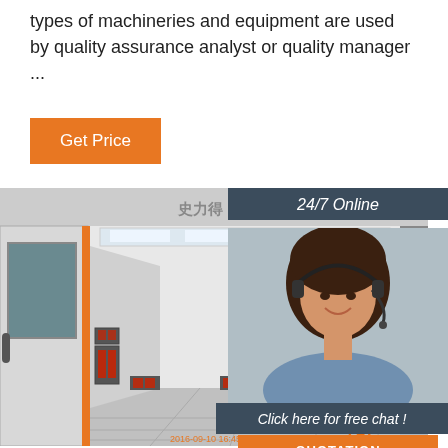types of machineries and equipment are used by quality assurance analyst or quality manager ...
Get Price
[Figure (photo): Industrial paint spray booth (SLIDE brand) with infrared heating panels along the sides, fluorescent ceiling lights, and an access door with window on the left side. Interior view shows a large enclosed chamber with a tiled floor.]
24/7 Online
[Figure (photo): Customer service representative wearing a headset, smiling, in a blue shirt]
Click here for free chat !
QUOTATION